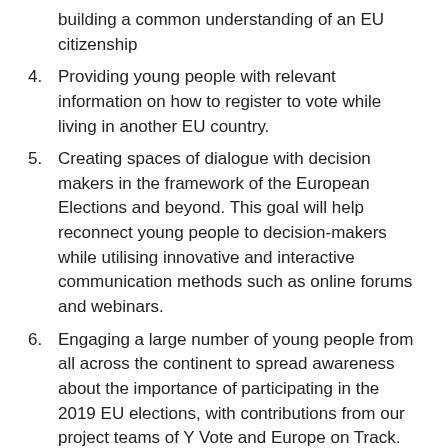building a common understanding of an EU citizenship
4. Providing young people with relevant information on how to register to vote while living in another EU country.
5. Creating spaces of dialogue with decision makers in the framework of the European Elections and beyond. This goal will help reconnect young people to decision-makers while utilising innovative and interactive communication methods such as online forums and webinars.
6. Engaging a large number of young people from all across the continent to spread awareness about the importance of participating in the 2019 EU elections, with contributions from our project teams of Y Vote and Europe on Track.